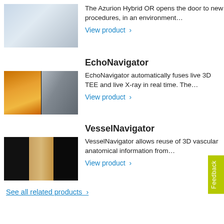[Figure (photo): Azurion Hybrid OR machine photo showing a large C-arm imaging system in a white hospital room]
The Azurion Hybrid OR opens the door to new procedures, in an environment…
View product ›
[Figure (photo): EchoNavigator image showing orange 3D TEE echo image on left and X-ray image on right]
EchoNavigator
EchoNavigator automatically fuses live 3D TEE and live X-ray in real time. The…
View product ›
[Figure (photo): VesselNavigator image showing black panels with vascular anatomy in center panel]
VesselNavigator
VesselNavigator allows reuse of 3D vascular anatomical information from…
View product ›
See all related products ›